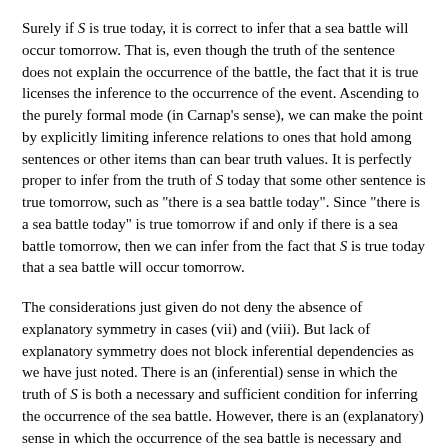Surely if S is true today, it is correct to infer that a sea battle will occur tomorrow. That is, even though the truth of the sentence does not explain the occurrence of the battle, the fact that it is true licenses the inference to the occurrence of the event. Ascending to the purely formal mode (in Carnap's sense), we can make the point by explicitly limiting inference relations to ones that hold among sentences or other items than can bear truth values. It is perfectly proper to infer from the truth of S today that some other sentence is true tomorrow, such as "there is a sea battle today". Since "there is a sea battle today" is true tomorrow if and only if there is a sea battle tomorrow, then we can infer from the fact that S is true today that a sea battle will occur tomorrow.
The considerations just given do not deny the absence of explanatory symmetry in cases (vii) and (viii). But lack of explanatory symmetry does not block inferential dependencies as we have just noted. There is an (inferential) sense in which the truth of S is both a necessary and sufficient condition for inferring the occurrence of the sea battle. However, there is an (explanatory) sense in which the occurrence of the sea battle is necessary and sufficient for explaining the truth of S. It would appear then that whether there is a symmetry or not in cases like (vii) and (viii) depends very much on the sense in which the notions of necessary and sufficient conditions are being deployed.